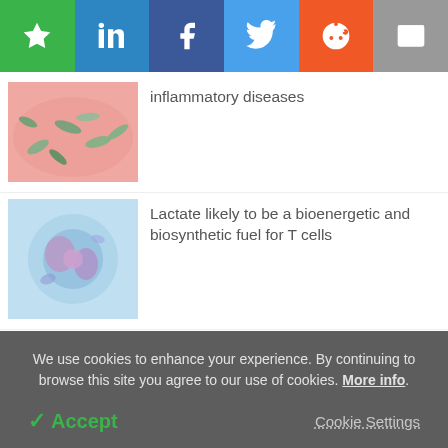[Figure (other): Social sharing toolbar with bookmark (green), LinkedIn (blue), Facebook (dark blue), Twitter (light blue), Reddit (orange), Email (grey) buttons]
[Figure (photo): Microscope image of bacteria on pink skin surface]
inflammatory diseases
[Figure (photo): Microscope image of a T cell, blue and purple tones]
Lactate likely to be a bioenergetic and biosynthetic fuel for T cells
[Figure (photo): Laboratory scientist in protective gear]
Re-defining the limits of single batch assay stabilisation
We use cookies to enhance your experience. By continuing to browse this site you agree to our use of cookies. More info.
✓ Accept
Cookie Settings